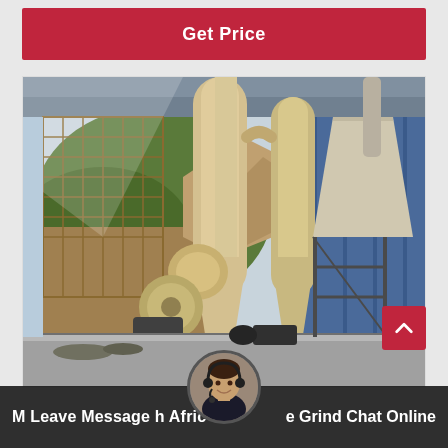Get Price
[Figure (photo): Industrial grinding mill equipment inside a large factory building. Tall cylindrical tan/cream colored separator towers and cyclone units dominate the center. Background shows open industrial shed with blue steel framing, a hillside with greenery, and concrete floors. Large machinery components including blower and motor units are visible at the base.]
M Leave Message h Afric e Grind Chat Online